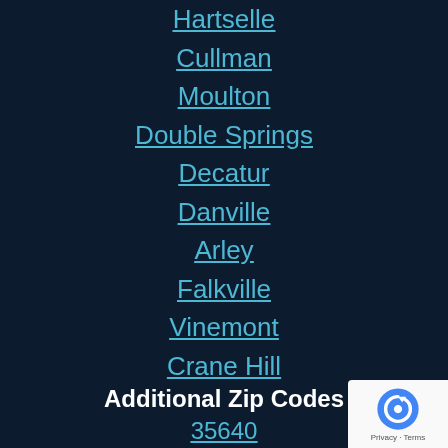Hartselle
Cullman
Moulton
Double Springs
Decatur
Danville
Arley
Falkville
Vinemont
Crane Hill
Additional Zip Codes
35640
35650
35055
35553
35603